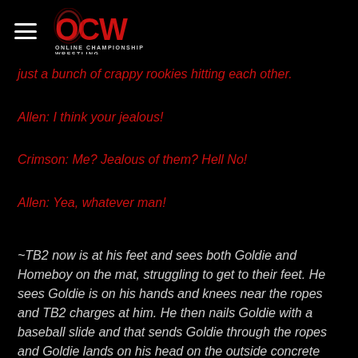OCW Online Championship Wrestling
just a bunch of crappy rookies hitting each other.
Allen: I think your jealous!
Crimson: Me? Jealous of them? Hell No!
Allen: Yea, whatever man!
~TB2 now is at his feet and sees both Goldie and Homeboy on the mat, struggling to get to their feet. He sees Goldie is on his hands and knees near the ropes and TB2 charges at him. He then nails Goldie with a baseball slide and that sends Goldie through the ropes and Goldie lands on his head on the outside concrete